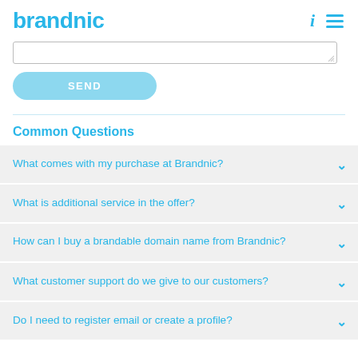brandnic
[Figure (screenshot): Text input area (textarea) with resize handle at bottom right]
[Figure (screenshot): SEND button, rounded pill shape, light blue color]
Common Questions
What comes with my purchase at Brandnic?
What is additional service in the offer?
How can I buy a brandable domain name from Brandnic?
What customer support do we give to our customers?
Do I need to register email or create a profile?